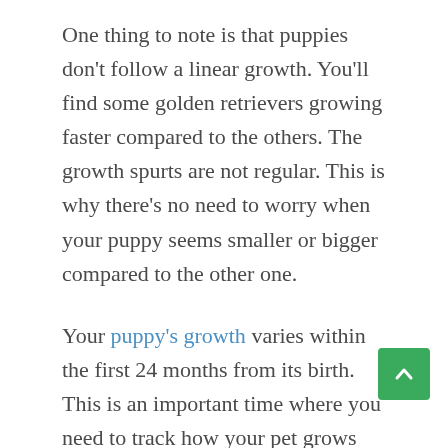One thing to note is that puppies don't follow a linear growth. You'll find some golden retrievers growing faster compared to the others. The growth spurts are not regular. This is why there's no need to worry when your puppy seems smaller or bigger compared to the other one.
Your puppy's growth varies within the first 24 months from its birth. This is an important time where you need to track how your pet grows and observe other changes that come with growing. For dog lovers, this is the most exciting and fun part of taking care of pup...